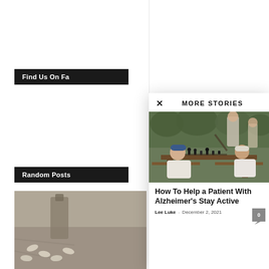Find Us On Fa
Random Posts
[Figure (photo): Blurred photo of pills/medicine on fabric, left sidebar bottom]
MORE STORIES
[Figure (photo): Elderly men playing chess outdoors at a park table]
How To Help a Patient With Alzheimer's Stay Active
Lee Luke - December 2, 2021
0